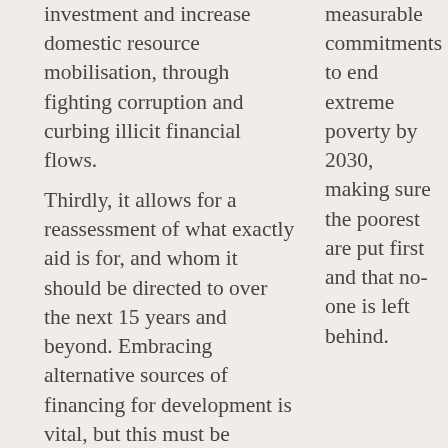investment and increase domestic resource mobilisation, through fighting corruption and curbing illicit financial flows.
measurable commitments to end extreme poverty by 2030, making sure the poorest are put first and that no-one is left behind.
Thirdly, it allows for a reassessment of what exactly aid is for, and whom it should be directed to over the next 15 years and beyond. Embracing alternative sources of financing for development is vital, but this must be coupled with the mapping out of aid flows to where it is most needed.
Seeing as the Least Developed Countries have limited means to generate domestic revenue and attract foreign investment, and that these countries have far greater proportions of people living in extreme poverty, it doesn't